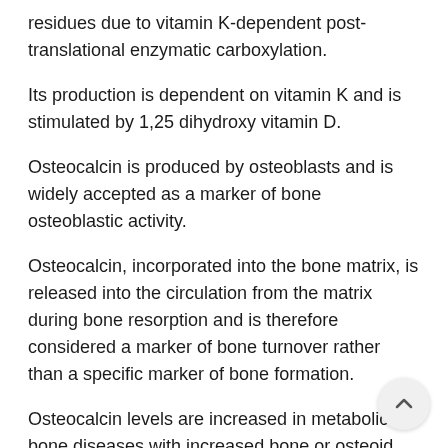residues due to vitamin K-dependent post-translational enzymatic carboxylation.
Its production is dependent on vitamin K and is stimulated by 1,25 dihydroxy vitamin D.
Osteocalcin is produced by osteoblasts and is widely accepted as a marker of bone osteoblastic activity.
Osteocalcin, incorporated into the bone matrix, is released into the circulation from the matrix during bone resorption and is therefore considered a marker of bone turnover rather than a specific marker of bone formation.
Osteocalcin levels are increased in metabolic bone diseases with increased bone or osteoid formation, including osteoporosis, osteomalacia, rickets, hyperparathyroidism, renal osteodystrophy, thyrotoxicosis,